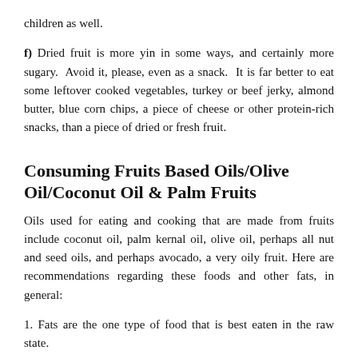children as well.
f) Dried fruit is more yin in some ways, and certainly more sugary. Avoid it, please, even as a snack. It is far better to eat some leftover cooked vegetables, turkey or beef jerky, almond butter, blue corn chips, a piece of cheese or other protein-rich snacks, than a piece of dried or fresh fruit.
Consuming Fruits Based Oils/Olive Oil/Coconut Oil & Palm Fruits
Oils used for eating and cooking that are made from fruits include coconut oil, palm kernal oil, olive oil, perhaps all nut and seed oils, and perhaps avocado, a very oily fruit. Here are recommendations regarding these foods and other fats, in general:
1. Fats are the one type of food that is best eaten in the raw state.